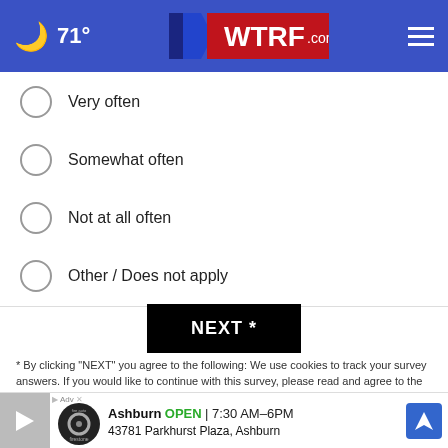🌙 71° WTRF.com
Very often
Somewhat often
Not at all often
Other / Does not apply
NEXT *
* By clicking "NEXT" you agree to the following: We use cookies to track your survey answers. If you would like to continue with this survey, please read and agree to the CivicScience Privacy Policy and Terms of Service
TOP STORIES ›
[Figure (screenshot): Advertisement banner showing Ashburn tire auto shop: OPEN 7:30 AM–6PM, 43781 Parkhurst Plaza, Ashburn]